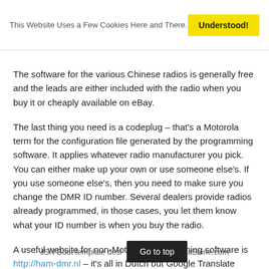This Website Uses a Few Cookies Here and There.  Understood!
The software for the various Chinese radios is generally free and the leads are either included with the radio when you buy it or cheaply available on eBay.
The last thing you need is a codeplug – that's a Motorola term for the configuration file generated by the programming software. It applies whatever radio manufacturer you pick. You can either make up your own or use someone else's. If you use someone else's, then you need to make sure you change the DMR ID number. Several dealers provide radios already programmed, in those cases, you let them know what your ID number is when you buy the radio.
A useful website for non-Motorola programming software is http://ham-dmr.nl – it's all in Dutch but Google Translate works very well and, most users will soon learn that “Bestanden” is Dutch for “Downloads”. The Hytera CPS and firmware updates are currently available there along with the CPS for both Connect Systems and TYT radios.
JSN Boot template designed by JoomlaShine.com  Go to top